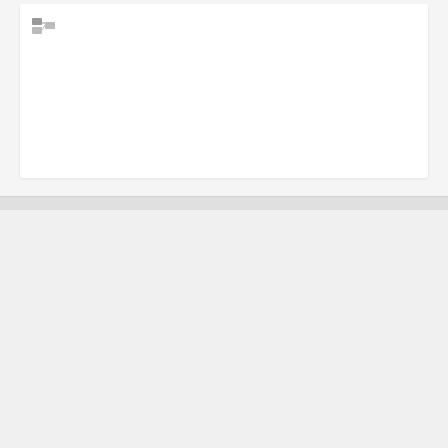[Figure (logo): Small tree/folder icon in gray at top left of white card]
[Figure (logo): LORIOT logo with teal dot-pattern graphic and LORIOT T text in gray]
LORIOT Resources
LORIOT on …
LORIOT on …
LORIOT on …